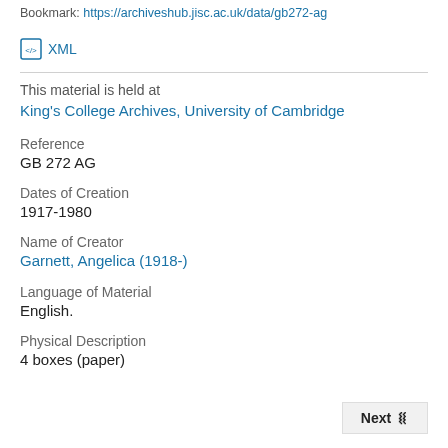Bookmark: https://archiveshub.jisc.ac.uk/data/gb272-ag
XML
This material is held at
King's College Archives, University of Cambridge
Reference
GB 272 AG
Dates of Creation
1917-1980
Name of Creator
Garnett, Angelica (1918-)
Language of Material
English.
Physical Description
4 boxes (paper)